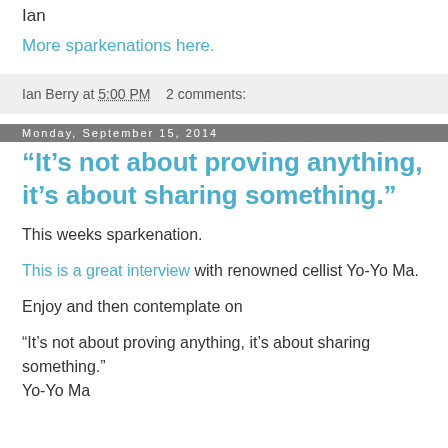Ian
More sparkenations here.
Ian Berry at 5:00 PM    2 comments:
Monday, September 15, 2014
“It’s not about proving anything, it’s about sharing something.”
This weeks sparkenation.
This is a great interview with renowned cellist Yo-Yo Ma.
Enjoy and then contemplate on
“It’s not about proving anything, it’s about sharing something.”
Yo-Yo Ma